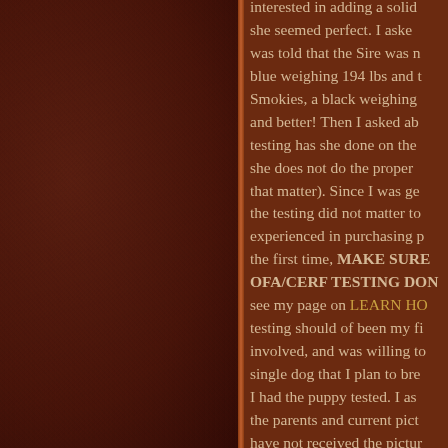interested in adding a solid she seemed perfect. I asked was told that the Sire was n blue weighing 194 lbs and t Smokies, a black weighing and better! Then I asked ab testing has she done on the she does not do the proper that matter). Since I was ge the testing did not matter to experienced in purchasing p the first time, MAKE SURE OFA/CERF TESTING DON see my page on LEARN HO testing should of been my fi involved, and was willing to single dog that I plan to bre I had the puppy tested. I as the parents and current pict have not received the pictur should of been my second w